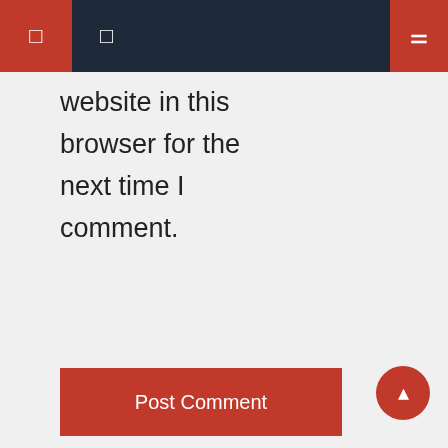Navigation bar with menu icons
website in this browser for the next time I comment.
Post Comment
Categories
Amazon music
American composer
American vocalist
Music download